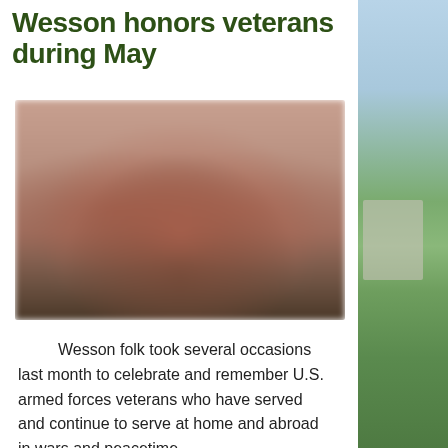Wesson honors veterans during May
[Figure (photo): Blurred outdoor group photo of people gathered near a brick building, likely a veterans ceremony or event.]
Wesson folk took several occasions last month to celebrate and remember U.S. armed forces veterans who have served and continue to serve at home and abroad in wars and peacetime.